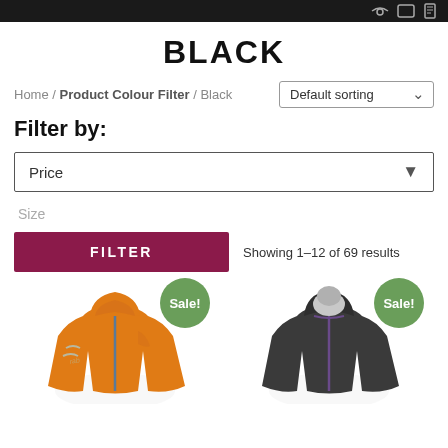BLACK - navigation header bar
BLACK
Home / Product Colour Filter / Black
Default sorting
Filter by:
Price
Size
FILTER
Showing 1–12 of 69 results
[Figure (photo): Orange hooded jacket product photo with Sale! badge]
[Figure (photo): Dark grey/black hooded jacket product photo with Sale! badge]